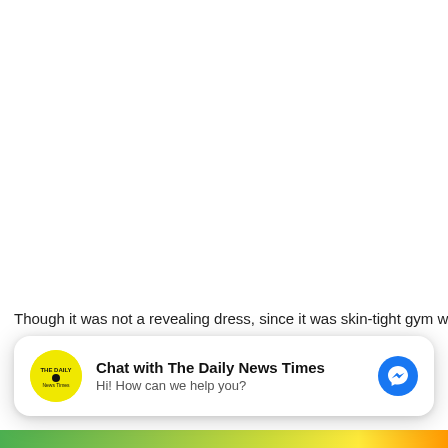Though it was not a revealing dress, since it was skin-tight gym we
[Figure (screenshot): Facebook Messenger chat widget with 'Chat with The Daily News Times' title, yellow circular logo, and blue messenger icon. Subtitle: 'Hi! How can we help you?']
[Figure (photo): Colorful bottom strip, partially visible]